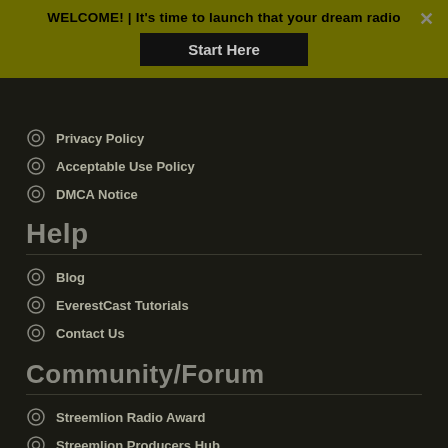WELCOME! | It's time to launch that your dream radio
Privacy Policy
Acceptable Use Policy
DMCA Notice
Help
Blog
EverestCast Tutorials
Contact Us
Community/Forum
Streemlion Radio Award
Streemlion Producers Hub
Streemlion Facebook Page
Streemlion Radio Directory (Coming)